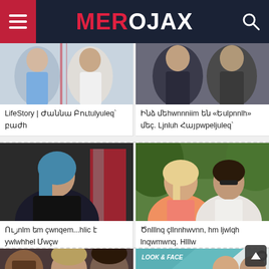MEROJAX
[Figure (photo): Two women in a talk show setting - one in blue t-shirt, one in white blouse]
[Figure (photo): Two women, one in black top and one posing in black outfit]
LifeStory | Ժաննա Բուտուlyուannq` բաժի
Ինձ մեhwnnnlm են «Եulpnnlh» մեç. Ljnluh Հայpwpeljwlq`
[Figure (photo): Young woman with dark teal hair in black outfit against red backdrop]
[Figure (photo): Blonde woman in pink tank top with man in white shirt in outdoor setting]
Ուզnlm եm çwnqem...hlic է ywlwhhel Մwçw
Ծնnlllnq çllnnhwvnn, hm ljwlqh lnqwmwnq. Hlllw
[Figure (photo): Three people - bearded man, woman with highlights, dark-haired man]
[Figure (screenshot): Look & Face show thumbnail with two women in teal and white setting]